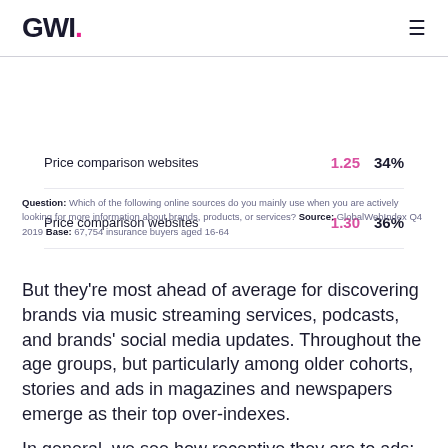GWI.
| Category | Index | Percentage |
| --- | --- | --- |
| Price comparison websites | 1.25 | 34% |
| Price comparison websites | 1.30 | 36% |
Question: Which of the following online sources do you mainly use when you are actively looking for more information about brands, products, or services? Source: GlobalWebIndex Q4 2019 Base: 67,754 insurance buyers aged 16-64
But they're most ahead of average for discovering brands via music streaming services, podcasts, and brands' social media updates. Throughout the age groups, but particularly among older cohorts, stories and ads in magazines and newspapers emerge as their top over-indexes.
In general, we see how receptive they are to ads;